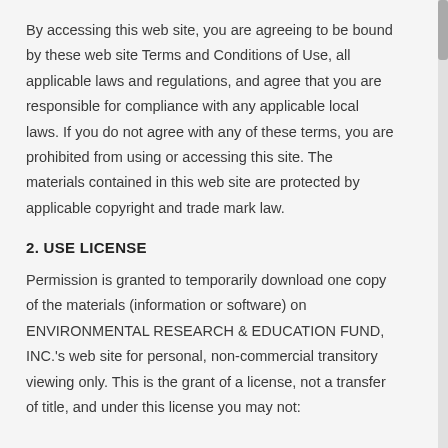By accessing this web site, you are agreeing to be bound by these web site Terms and Conditions of Use, all applicable laws and regulations, and agree that you are responsible for compliance with any applicable local laws. If you do not agree with any of these terms, you are prohibited from using or accessing this site. The materials contained in this web site are protected by applicable copyright and trade mark law.
2. USE LICENSE
Permission is granted to temporarily download one copy of the materials (information or software) on ENVIRONMENTAL RESEARCH & EDUCATION FUND, INC.'s web site for personal, non-commercial transitory viewing only. This is the grant of a license, not a transfer of title, and under this license you may not: